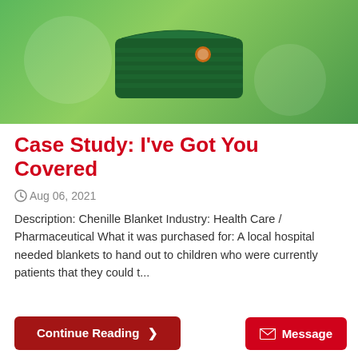[Figure (photo): A folded dark green chenille blanket with a small logo on a bright green background with decorative circular shapes]
Case Study: I've Got You Covered
Aug 06, 2021
Description: Chenille Blanket Industry: Health Care / Pharmaceutical What it was purchased for: A local hospital needed blankets to hand out to children who were currently patients that they could t...
Continue Reading ❯
Message